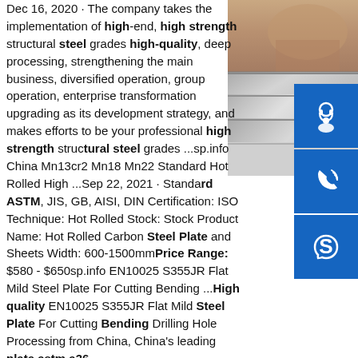Dec 16, 2020 · The company takes the implementation of high-end, high strength structural steel grades high-quality, deep processing, strengthening the main business, diversified operation, group operation, enterprise transformation upgrading as its development strategy, and makes efforts to be your professional high strength structural steel grades ...sp.info China Mn13cr2 Mn18 Mn22 Standard Hot Rolled High ...Sep 22, 2021 · Standard ASTM, JIS, GB, AISI, DIN Certification: ISO Technique: Hot Rolled Stock: Stock Product Name: Hot Rolled Carbon Steel Plate and Sheets Width: 600-1500mmPrice Range: $580 - $650sp.info EN10025 S355JR Flat Mild Steel Plate For Cutting Bending ...High quality EN10025 S355JR Flat Mild Steel Plate For Cutting Bending Drilling Hole Processing from China, China's leading plate astm a36
[Figure (photo): Photo of stacked steel plates/sheets, grey and metallic in appearance]
[Figure (infographic): Three blue icon buttons: headset/support icon, phone/call icon, Skype icon]